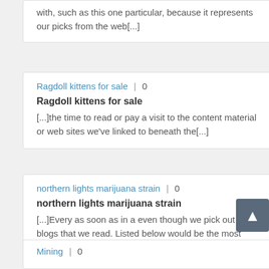with, such as this one particular, because it represents our picks from the web[...]
Ragdoll kittens for sale | 0
Ragdoll kittens for sale
[...]the time to read or pay a visit to the content material or web sites we've linked to beneath the[...]
northern lights marijuana strain | 0
northern lights marijuana strain
[...]Every as soon as in a even though we pick out blogs that we read. Listed below would be the most recent web sites that we pick out [...]
Mining | 0